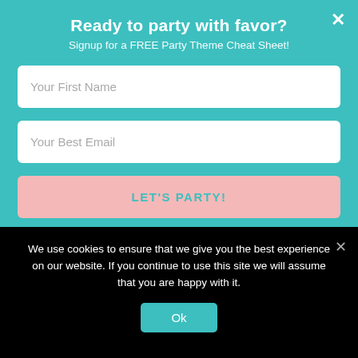Ready to party with favor?
Signup for a FREE Party Theme Cheat Sheet!
Your First Name
Your Best Email
LET'S PARTY!
Privacy Policy are effective when they are posted on this page.
We use cookies to ensure that we give you the best experience on our website. If you continue to use this site we will assume that you are happy with it.
Ok